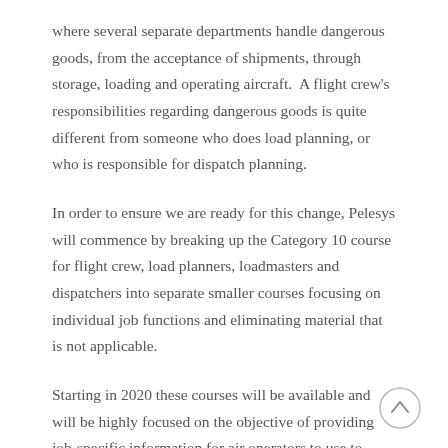where several separate departments handle dangerous goods, from the acceptance of shipments, through storage, loading and operating aircraft.  A flight crew's responsibilities regarding dangerous goods is quite different from someone who does load planning, or who is responsible for dispatch planning.
In order to ensure we are ready for this change, Pelesys will commence by breaking up the Category 10 course for flight crew, load planners, loadmasters and dispatchers into separate smaller courses focusing on individual job functions and eliminating material that is not applicable.
Starting in 2020 these courses will be available and will be highly focused on the objective of providing job-specific information for air operators to use to build their CBTA programs.  Since every air operator will need to have